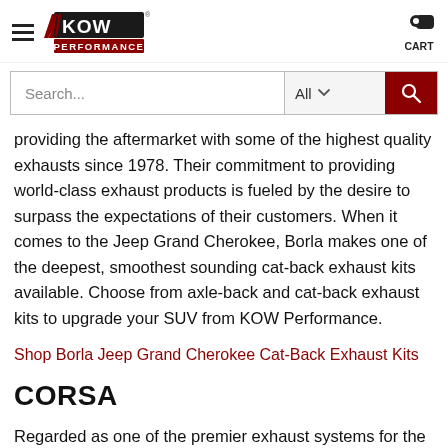KOW PERFORMANCE — navigation header with logo, hamburger menu, and cart
Search...  All  [search button]
providing the aftermarket with some of the highest quality exhausts since 1978. Their commitment to providing world-class exhaust products is fueled by the desire to surpass the expectations of their customers. When it comes to the Jeep Grand Cherokee, Borla makes one of the deepest, smoothest sounding cat-back exhaust kits available. Choose from axle-back and cat-back exhaust kits to upgrade your SUV from KOW Performance.
Shop Borla Jeep Grand Cherokee Cat-Back Exhaust Kits
CORSA
Regarded as one of the premier exhaust systems for the Jeep Grand Cherokee, Corsa has a reputation for being one of the higher-end kits you can purchase. As an industry leader in the performance